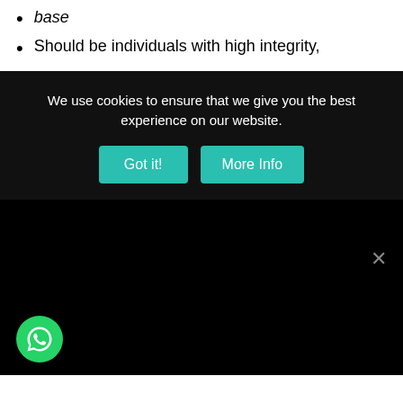base
Should be individuals with high integrity,
[Figure (screenshot): Cookie consent overlay on black background with text 'We use cookies to ensure that we give you the best experience on our website.' and two teal buttons: 'Got it!' and 'More Info'. A close X button appears in lower right. A WhatsApp icon appears in lower left.]